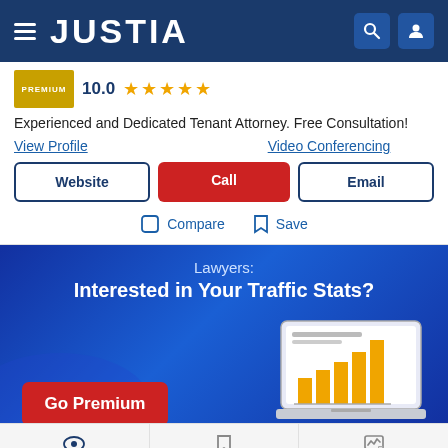JUSTIA
PREMIUM  10.0 ★★★★★
Experienced and Dedicated Tenant Attorney. Free Consultation!
View Profile   Video Conferencing
Website | Call | Email
Compare   Save
[Figure (infographic): Advertisement banner for Justia Premium. Text reads 'Lawyers: Interested in Your Traffic Stats?' with a 'Go Premium' red button and a bar chart illustration on a laptop showing orange growing bars.]
Recent (0)   Saved (0)   Compare (0/3)